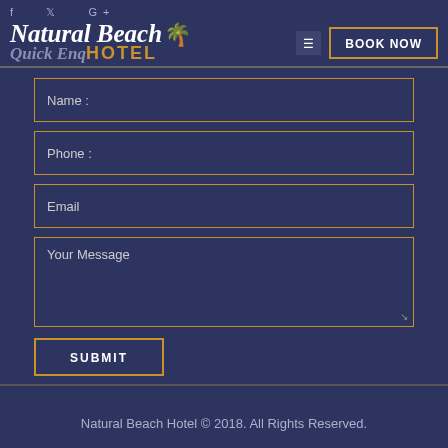Natural Beach Hotel - Quick Enquiry
Name :
Phone :
Email
Your Message
SUBMIT
Natural Beach Hotel © 2018. All Rights Reserved.